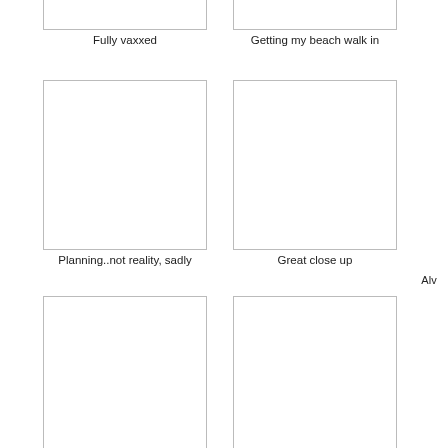[Figure (photo): Empty photo placeholder box - top left]
Fully vaxxed
[Figure (photo): Empty photo placeholder box - top center]
Getting my beach walk in
[Figure (photo): Empty photo placeholder box - middle left]
Planning..not reality, sadly
[Figure (photo): Empty photo placeholder box - middle center]
Great close up
Alv
[Figure (photo): Empty photo placeholder box - bottom left]
[Figure (photo): Empty photo placeholder box - bottom center]